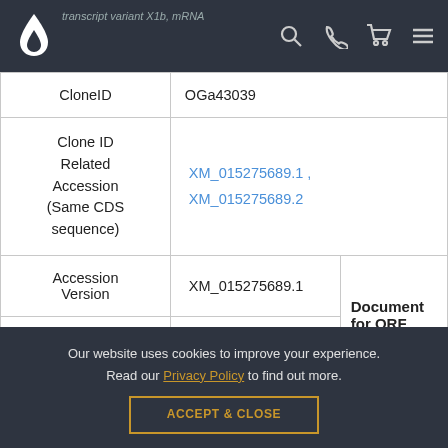transcript variant X1b mRNA
| CloneID | OGa43039 |  |
| Clone ID Related Accession (Same CDS sequence) | XM_015275689.1 , XM_015275689.2 |  |
| Accession Version | XM_015275689.1 | Document for ORF clone |
|  | ORF Nucleotide Sequence | Document for ORF clone |
Our website uses cookies to improve your experience. Read our Privacy Policy to find out more.
ACCEPT & CLOSE